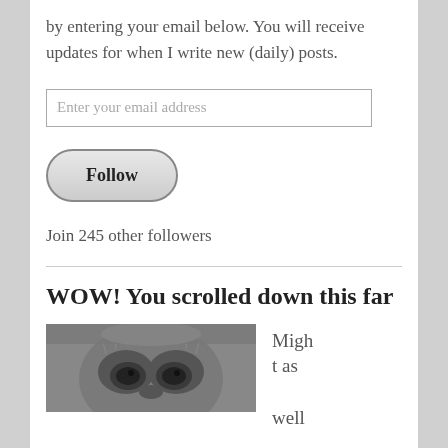by entering your email below. You will receive updates for when I write new (daily) posts.
[Figure (other): Email input field with placeholder text 'Enter your email address']
[Figure (other): Follow button with rounded rectangle style]
Join 245 other followers
WOW! You scrolled down this far
[Figure (photo): Close-up photo of a furry animal face, likely a raccoon or similar animal]
Might as well